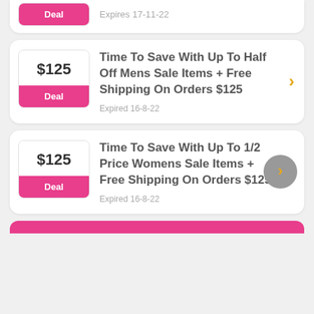Deal | Expires 17-11-22
$125
Deal
Time To Save With Up To Half Off Mens Sale Items + Free Shipping On Orders $125
Expired 16-8-22
$125
Deal
Time To Save With Up To 1/2 Price Womens Sale Items + Free Shipping On Orders $125
Expired 16-8-22